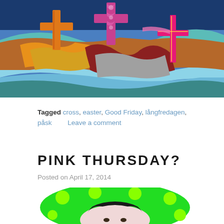[Figure (illustration): Colorful abstract painting featuring three crosses — one orange on the left, one decorative pink/purple in the center, and one pink/magenta on the right — set against swirling blue, teal, brown, red, and orange wave-like shapes.]
Tagged cross, easter, Good Friday, långfredagen, påsk   Leave a comment
PINK THURSDAY?
Posted on April 17, 2014
[Figure (illustration): Partial view of a cartoon-style illustration showing a child's face with dark hair, wearing a bright green hat or scarf with lime green polka dots, on a white/pink face.]